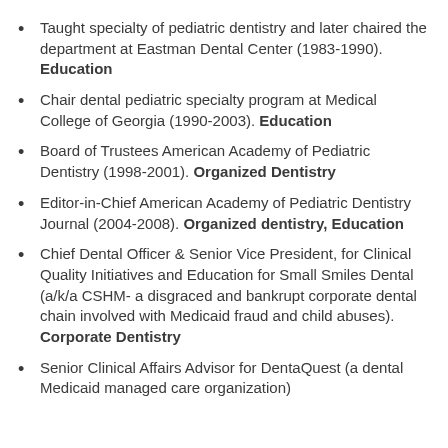Taught specialty of pediatric dentistry and later chaired the department at Eastman Dental Center (1983-1990). Education
Chair dental pediatric specialty program at Medical College of Georgia (1990-2003). Education
Board of Trustees American Academy of Pediatric Dentistry (1998-2001). Organized Dentistry
Editor-in-Chief American Academy of Pediatric Dentistry Journal (2004-2008). Organized dentistry, Education
Chief Dental Officer & Senior Vice President, for Clinical Quality Initiatives and Education for Small Smiles Dental (a/k/a CSHM- a disgraced and bankrupt corporate dental chain involved with Medicaid fraud and child abuses). Corporate Dentistry
Senior Clinical Affairs Advisor for DentaQuest (a dental Medicaid managed care organization)